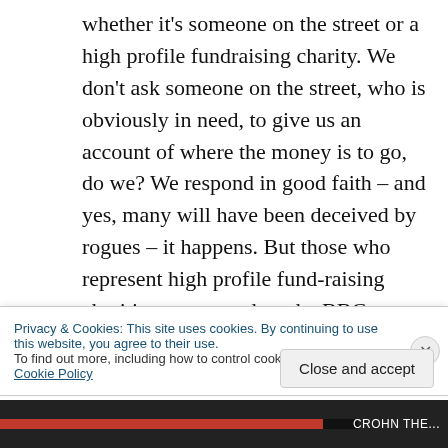whether it's someone on the street or a high profile fundraising charity. We don't ask someone on the street, who is obviously in need, to give us an account of where the money is to go, do we? We respond in good faith – and yes, many will have been deceived by rogues – it happens. But those who represent high profile fund-raising charities, sponsored on the BBC (Children in Need and Red Nose Day in particular) have assessed what the 'needs' are in any given situation and we should trust their
Privacy & Cookies: This site uses cookies. By continuing to use this website, you agree to their use.
To find out more, including how to control cookies, see here: Cookie Policy
Close and accept